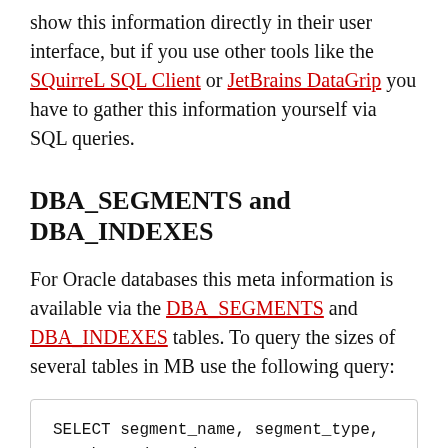show this information directly in their user interface, but if you use other tools like the SQuirreL SQL Client or JetBrains DataGrip you have to gather this information yourself via SQL queries.
DBA_SEGMENTS and DBA_INDEXES
For Oracle databases this meta information is available via the DBA_SEGMENTS and DBA_INDEXES tables. To query the sizes of several tables in MB use the following query:
SELECT segment_name, segment_type,
    bytes/1024/1024 MB